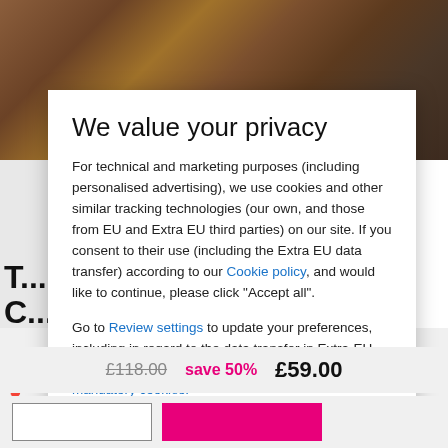[Figure (screenshot): Background showing overhead view of ornate room with decorative rugs and furniture, partially visible behind a privacy consent modal dialog.]
We value your privacy
For technical and marketing purposes (including personalised advertising), we use cookies and other similar tracking technologies (our own, and those from EU and Extra EU third parties) on our site. If you consent to their use (including the Extra EU data transfer) according to our Cookie policy, and would like to continue, please click "Accept all".
Go to Review settings to update your preferences, including in regard to the data transfer in Extra-EU countries, or click here to continue without non mandatory cookies.
ACCEPT ALL
£118.00   save 50%   £59.00